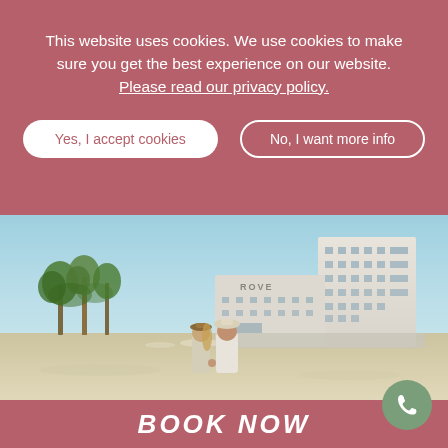This website uses cookies. We use cookies to make sure you get the best experience on our website. Please read our privacy policy.
Yes, I accept cookies
No, I want more info
[Figure (photo): A couple holding hands on a sandy beach, viewed from behind, facing a large white hotel building labeled ROVE. Palm trees and blue sky in background.]
BOOK NOW